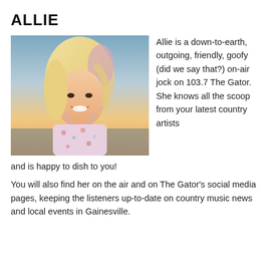ALLIE
[Figure (photo): Photo of Allie, a young woman with long blonde hair with pink highlights, smiling, wearing a floral top, with a sunset sky background.]
Allie is a down-to-earth, outgoing, friendly, goofy (did we say that?) on-air jock on 103.7 The Gator. She knows all the scoop from your latest country artists and is happy to dish to you!
You will also find her on the air and on The Gator's social media pages, keeping the listeners up-to-date on country music news and local events in Gainesville.